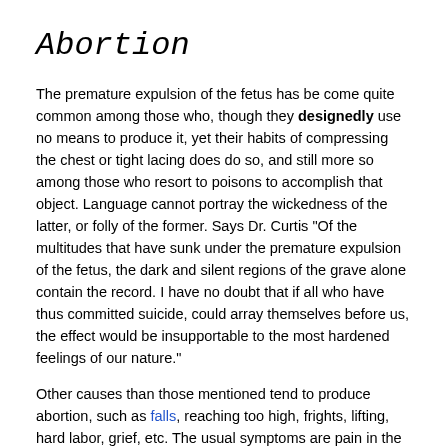Abortion
The premature expulsion of the fetus has be come quite common among those who, though they designedly use no means to produce it, yet their habits of compressing the chest or tight lacing does do so, and still more so among those who resort to poisons to accomplish that object. Language cannot portray the wickedness of the latter, or folly of the former. Says Dr. Curtis "Of the multitudes that have sunk under the premature expulsion of the fetus, the dark and silent regions of the grave alone contain the record. I have no doubt that if all who have thus committed suicide, could array themselves before us, the effect would be insupportable to the most hardened feelings of our nature."
Other causes than those mentioned tend to produce abortion, such as falls, reaching too high, frights, lifting, hard labor, grief, etc. The usual symptoms are pain in the back, loins, and lower part of the abdomen, chills, nausea, flowing and palpitation of the heart.
Treatment